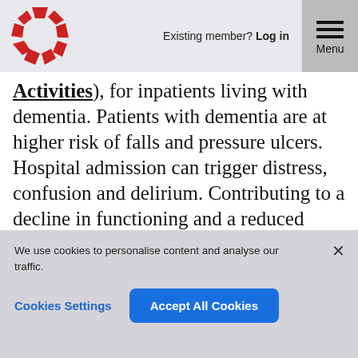Existing member? Log in | Menu
Activities), for inpatients living with dementia. Patients with dementia are at higher risk of falls and pressure ulcers. Hospital admission can trigger distress, confusion and delirium. Contributing to a decline in functioning and a reduced ability to return home to independent living. During hospitalisation patients with dementia fall more frequently than patients
We use cookies to personalise content and analyse our traffic.
Cookies Settings
Accept All Cookies